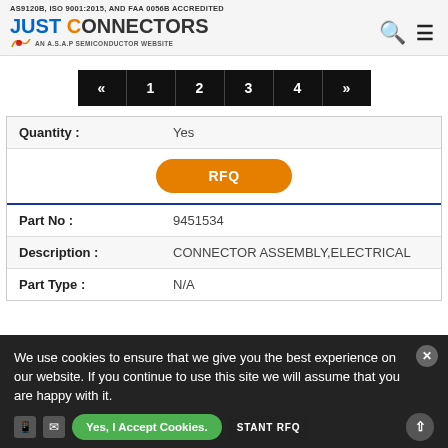AS9120B, ISO 9001:2015, AND FAA 0056B ACCREDITED — Just Connectors, An A.S.A.P Semiconductor Website
[Figure (screenshot): Pagination bar with buttons: «, 1, 2, 3, 4, »]
| Field | Value |
| --- | --- |
| Quantity : | Yes |
|  | RFQ |
| Part No : | 9451534 |
| Description : | CONNECTOR ASSEMBLY,ELECTRICAL |
| Part Type : | N/A |
We use cookies to ensure that we give you the best experience on our website. If you continue to use this site we will assume that you are happy with it.
Yes, I Accept Cookies.   INSTANT RFQ